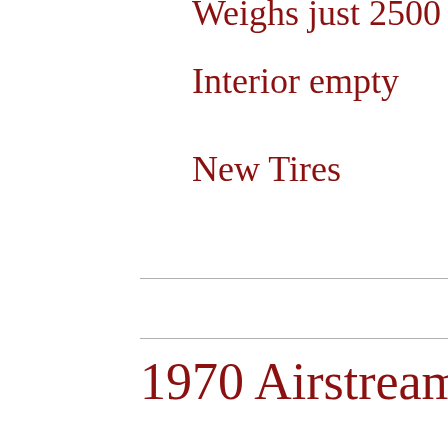Interior empty
New Tires
1970 Airstream C